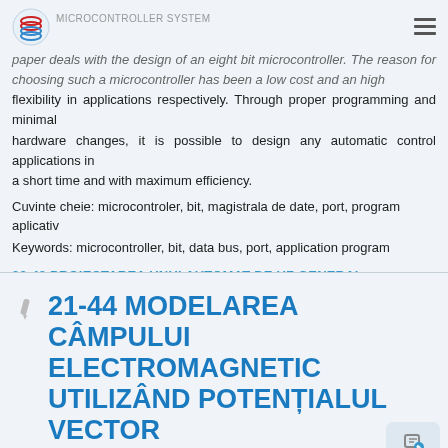MICROCONTROLLER SYSTEM
paper deals with the design of an eight bit microcontroller. The reason for choosing such a microcontroller has been a low cost and an high flexibility in applications respectively. Through proper programming and minimal hardware changes, it is possible to design any automatic control applications in a short time and with maximum efficiency.
Cuvinte cheie: microcontroler, bit, magistrala de date, port, program aplicativ
Keywords: microcontroller, bit, data bus, port, application program
23-42 PROIECTAREA UNUI AUTOMAT DE UZ GENERAL
21-44 MODELAREA CÂMPULUI ELECTROMAGNETIC UTILIZÂND POTENȚIALUL VECTOR